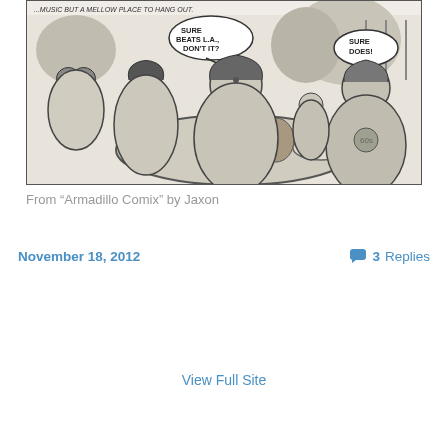[Figure (illustration): Black and white comic strip panel from 'Armadillo Comix' by Jaxon, showing a group of people sitting around a table outdoors eating and drinking. Speech bubbles read 'Sure beats L.A., don't it?' and 'Sure does!' The characters have long hair and beards, suggesting a 1970s hippie style.]
From “Armadillo Comix” by Jaxon
November 18, 2012
3 Replies
View Full Site